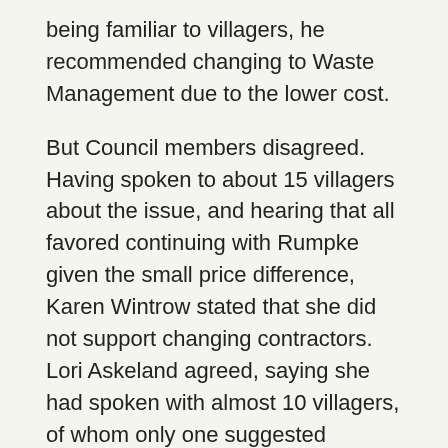being familiar to villagers, he recommended changing to Waste Management due to the lower cost.
But Council members disagreed. Having spoken to about 15 villagers about the issue, and hearing that all favored continuing with Rumpke given the small price difference, Karen Wintrow stated that she did not support changing contractors. Lori Askeland agreed, saying she had spoken with almost 10 villagers, of whom only one suggested making the change.
After discussion, Council members requested that Cundiff bring to its Aug. 1 Council meeting legislation for rehiring Rumpke. They will vote at that time.
In other Village business:
• Village Finance Director Sharon Potter explained to Council the need for a new phone system at the